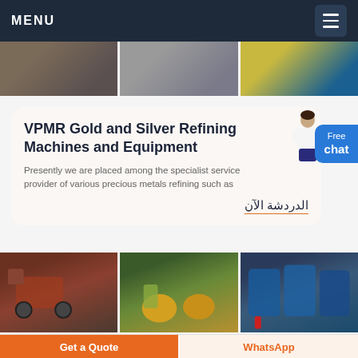MENU
[Figure (photo): Three equipment/machinery photos in a horizontal strip at top]
VPMR Gold and Silver Refining Machines and Equipment
Presently we are placed among the specialist service provider of various precious metals refining such as
الدردشة الآن
[Figure (photo): Three industrial machinery photos in a horizontal strip at bottom]
Get a Quote
WhatsApp